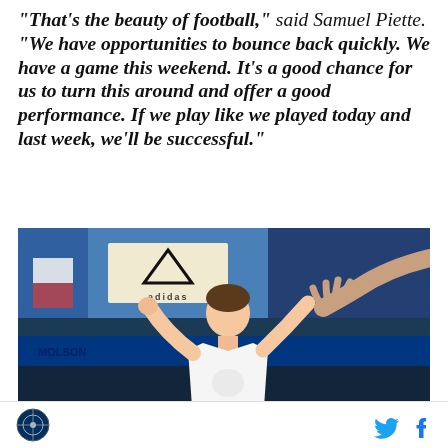“That’s the beauty of football,” said Samuel Piette. “We have opportunities to bounce back quickly. We have a game this weekend. It’s a good chance for us to turn this around and offer a good performance. If we play like we played today and last week, we’ll be successful.”
[Figure (photo): A soccer player in a white jersey reaching up toward fans or another person's hand from the right side of the frame, in a stadium setting with blue surroundings and an Adidas advertisement board visible.]